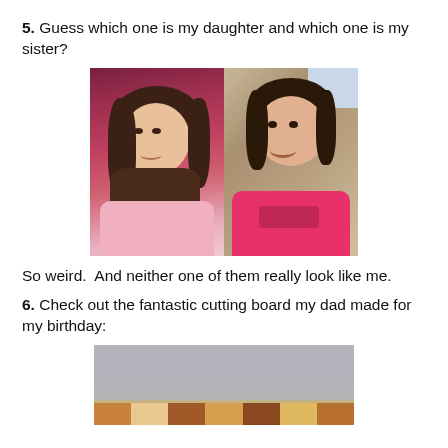5. Guess which one is my daughter and which one is my sister?
[Figure (photo): Two side-by-side photos of young girls. Left: a girl with long dark hair wearing a pink shirt against a red/pink background. Right: a girl with dark hair wearing a pink top sitting on a couch.]
So weird.  And neither one of them really look like me.
6. Check out the fantastic cutting board my dad made for my birthday:
[Figure (photo): Partial photo of a wooden cutting board on a grey surface, with colorful wood pieces visible at the bottom.]